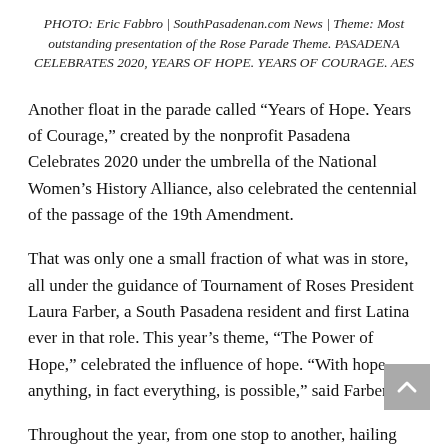PHOTO: Eric Fabbro | SouthPasadenan.com News | Theme: Most outstanding presentation of the Rose Parade Theme. PASADENA CELEBRATES 2020, YEARS OF HOPE. YEARS OF COURAGE. AES
Another float in the parade called “Years of Hope. Years of Courage,” created by the nonprofit Pasadena Celebrates 2020 under the umbrella of the National Women’s History Alliance, also celebrated the centennial of the passage of the 19th Amendment.
That was only one a small fraction of what was in store, all under the guidance of Tournament of Roses President Laura Farber, a South Pasadena resident and first Latina ever in that role. This year’s theme, “The Power of Hope,” celebrated the influence of hope. “With hope anything, in fact everything, is possible,” said Farber.
Throughout the year, from one stop to another, hailing the